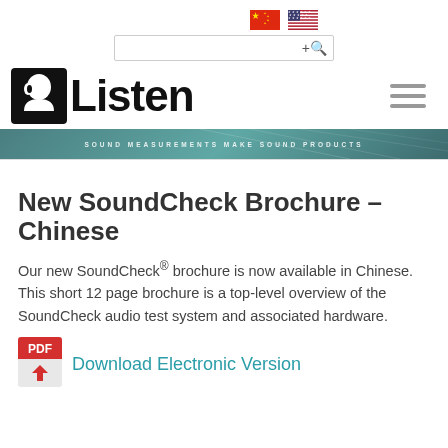[Figure (illustration): Chinese flag and US flag icons in the top header area]
[Figure (screenshot): Search bar with magnifying glass icon]
[Figure (logo): Listen Inc logo — silhouette of head with ear next to bold text 'Listen']
[Figure (illustration): Hamburger menu icon (three horizontal lines)]
[Figure (illustration): Teal banner with decorative lines and text 'SOUND MEASUREMENTS MAKE SOUND PRODUCTS']
New SoundCheck Brochure – Chinese
Our new SoundCheck® brochure is now available in Chinese. This short 12 page brochure is a top-level overview of the SoundCheck audio test system and associated hardware.
[Figure (illustration): Red PDF icon with downward arrow]
Download Electronic Version